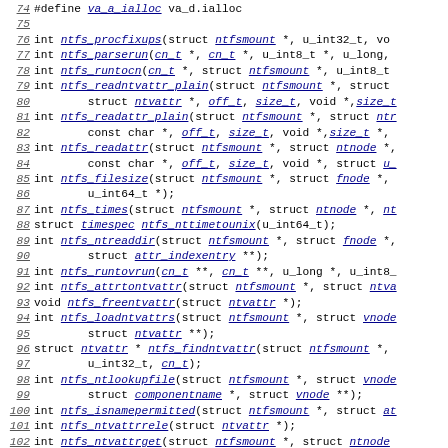Source code listing with C function declarations and macro definitions, lines 74-105, from NTFS filesystem implementation.